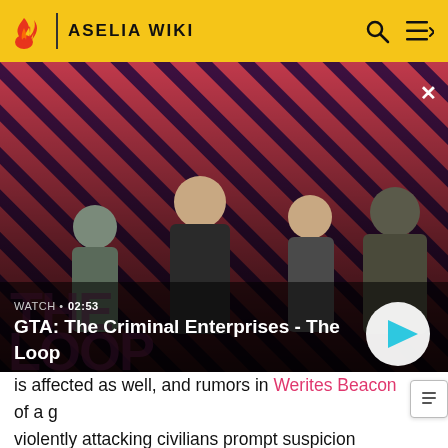ASELIA WIKI
[Figure (screenshot): Video thumbnail for 'GTA: The Criminal Enterprises - The Loop' showing characters on a red diagonal-striped background. Duration shown: 02:53. A play button is visible on the right side.]
is affected as well, and rumors in Werites Beacon of a g violently attacking civilians prompt suspicion toward G It becomes evident that Giet is guilty of the attacks when he attacks Moses at The Crags, damaging his eye. Later, at the Bandit's Lair, Giet returns to this rabid state and